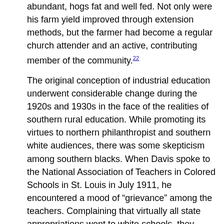abundant, hogs fat and well fed. Not only were his farm yield improved through extension methods, but the farmer had become a regular church attender and an active, contributing member of the community.22
The original conception of industrial education underwent considerable change during the 1920s and 1930s in the face of the realities of southern rural education. While promoting its virtues to northern philanthropist and southern white audiences, there was some skepticism among southern blacks. When Davis spoke to the National Association of Teachers in Colored Schools in St. Louis in July 1911, he encountered a mood of “grievance” among the teachers. Complaining that virtually all state appropriations went to white schools, they urged that Jeanes teachers become involved in as much academic as industrial work.23  In fact, much of Davis’ energies–and those of the industrial education program–concentrated on the physical modernization of the dilapidated school plant existing for African American children. Citing the “steady migration” of black people out of the South after World War I and a “serious shortage of farm labor,” Davis declared that the Great Migration was at least